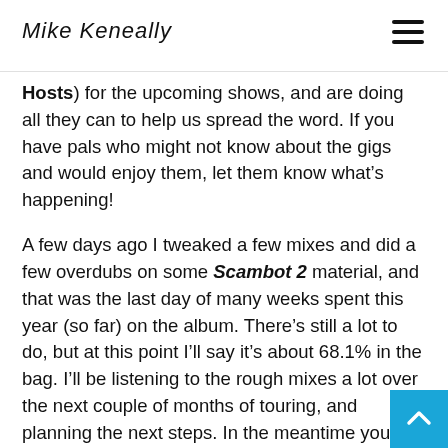Mike Keneally
Hosts) for the upcoming shows, and are doing all they can to help us spread the word. If you have pals who might not know about the gigs and would enjoy them, let them know what's happening!
A few days ago I tweaked a few mixes and did a few overdubs on some Scambot 2 material, and that was the last day of many weeks spent this year (so far) on the album. There's still a lot to do, but at this point I'll say it's about 68.1% in the bag. I'll be listening to the rough mixes a lot over the next couple of months of touring, and planning the next steps. In the meantime you can check out Blair's video of me working on the vocal tracks for a song provisionally entitled “Roots Twist.” Most of the things I've been working have been instrumentally oriented, and I'm still on the fence about